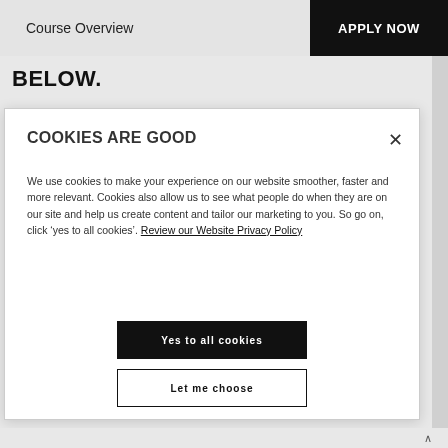Course Overview | APPLY NOW
BELOW.
COOKIES ARE GOOD
We use cookies to make your experience on our website smoother, faster and more relevant. Cookies also allow us to see what people do when they are on our site and help us create content and tailor our marketing to you. So go on, click ‘yes to all cookies’. Review our Website Privacy Policy
Yes to all cookies
Let me choose